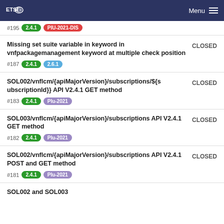ETSI Menu
#195  2.4.1  PIU-2021-DIS
Missing set suite variable in keyword in vnfpackagemanagement keyword at multiple check position  CLOSED
#187  2.4.1  2.6.1
SOL002/vnflcm/{apiMajorVersion}/subscriptions/${subscriptionId}} API V2.4.1 GET method  CLOSED
#183  2.4.1  PIu-2021
SOL003/vnflcm/{apiMajorVersion}/subscriptions API V2.4.1 GET method  CLOSED
#182  2.4.1  PIu-2021
SOL002/vnflcm/{apiMajorVersion}/subscriptions API V2.4.1 POST and GET method  CLOSED
#181  2.4.1  PIu-2021
SOL002 and SOL003...